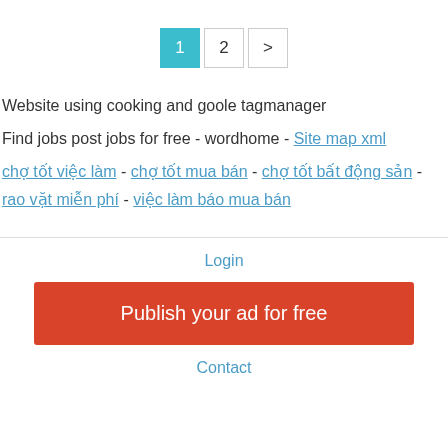Pagination: 1 (active), 2, >
Website using cooking and goole tagmanager
Find jobs post jobs for free - wordhome - Site map xml
chợ tốt việc làm - chợ tốt mua bán - chợ tốt bất động sản - rao vặt miễn phí - việc làm báo mua bán
Login
Publish your ad for free
Contact